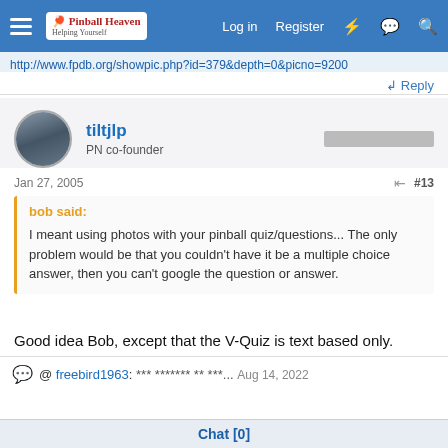Navigation bar with hamburger menu, Pinball Heaven logo, Log in, Register links, and icons
http://www.fpdb.org/showpic.php?id=379&depth=0&picno=9200
Reply
tiltjlp
PN co-founder
Jan 27, 2005
#13
bob said:
I meant using photos with your pinball quiz/questions... The only problem would be that you couldn't have it be a multiple choice answer, then you can't google the question or answer.
Good idea Bob, except that the V-Quiz is text based only.
@ freebird1963: *** ******* ** ***... Aug 14, 2022
Chat [0]